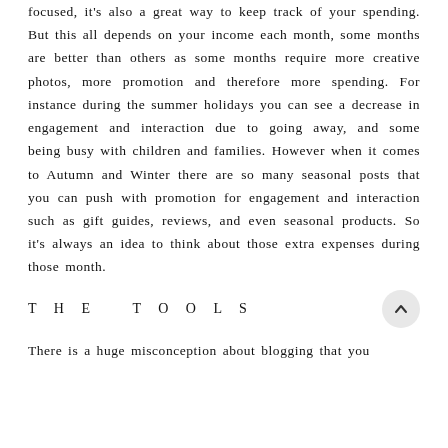focused, it's also a great way to keep track of your spending. But this all depends on your income each month, some months are better than others as some months require more creative photos, more promotion and therefore more spending. For instance during the summer holidays you can see a decrease in engagement and interaction due to going away, and some being busy with children and families. However when it comes to Autumn and Winter there are so many seasonal posts that you can push with promotion for engagement and interaction such as gift guides, reviews, and even seasonal products. So it's always an idea to think about those extra expenses during those month.
THE TOOLS
There is a huge misconception about blogging that you